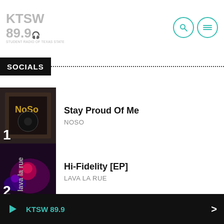KTSW 89.9
SOCIALS
1. Stay Proud Of Me - NOSO
2. Hi-Fidelity [EP] - LAVA LA RUE
3. Too Much To Ask - CHEEKFACE
Surrender
KTSW 89.9